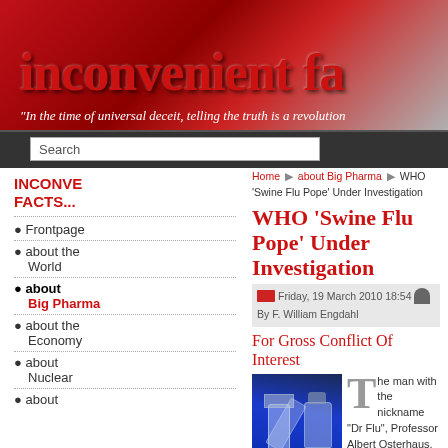[Figure (illustration): Inconvenient Facts website banner with red stylized text on red/gray background]
"In the time of universal deceit, telling the truth is a revolution
Search
INCONVENIENT FACTS...
Frontpage
about the World
about Big Pharma
about the Economy
about Nuclear
about
Home ▶ about Big Pharma ▶ WHO 'Swine Flu Pope' Under Investigation
WHO 'Swine Flu Pope' Under Investigation
Friday, 19 March 2010 18:54   By F. William Engdahl
For Gross Conflict Of Interest
[Figure (photo): Photo of a syringe and vaccine vial on dark blue background]
The man with the nickname "Dr Flu", Professor Albert Osterhaus, of the Erasmus University in Rotterdam Holland has been named by Dutch